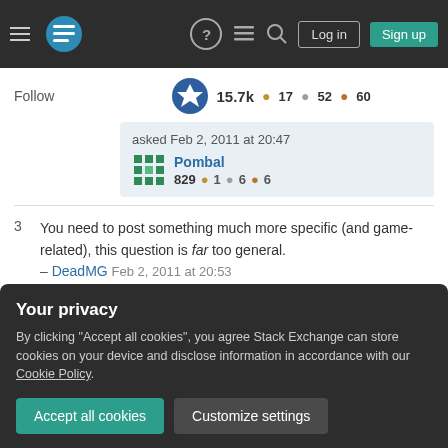Stack Exchange navigation bar with Log in and Sign up buttons
Follow   15.7k  17  52  60
asked Feb 2, 2011 at 20:47  Pombal  829  1  6  6
3  You need to post something much more specific (and game-related), this question is far too general. – DeadMG Feb 2, 2011 at 20:53
You're right, but I haven't seen this being discussed in other fields besides game programming. – Pombal
Add a comment
Your privacy
By clicking "Accept all cookies", you agree Stack Exchange can store cookies on your device and disclose information in accordance with our Cookie Policy.
Accept all cookies
Customize settings